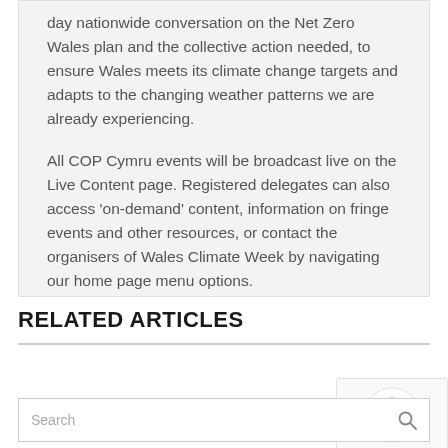day nationwide conversation on the Net Zero Wales plan and the collective action needed, to ensure Wales meets its climate change targets and adapts to the changing weather patterns we are already experiencing.
All COP Cymru events will be broadcast live on the Live Content page. Registered delegates can also access 'on-demand' content, information on fringe events and other resources, or contact the organisers of Wales Climate Week by navigating our home page menu options.
RELATED ARTICLES
Search